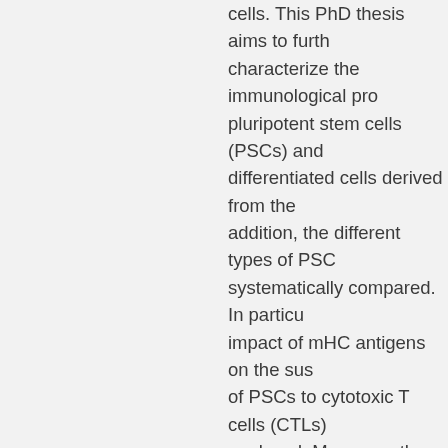cells. This PhD thesis aims to further characterize the immunological properties of pluripotent stem cells (PSCs) and differentiated cells derived from them. In addition, the different types of PSCs were systematically compared. In particular, the impact of mHC antigens on the susceptibility of PSCs to cytotoxic T cells (CTLs) was analyzed. Moreover, the immunogenicity of different PSCs types was studied, including the assessment of their ability to activate the immune system as well as their potential to suppress immune functions. In previous studies our group has shown that PSCs can be killed by CTLs, although they were negative for MHC class I expression by flow cytometry. In these experiments, PSCs were pulsed with an antigenic peptide before they were exposed to activated, peptide-specific CTLs. In this thesis endogenously expressed Ovalbumin (OVA) was used as model antigen and CTLs, transgenic for a T cell receptor